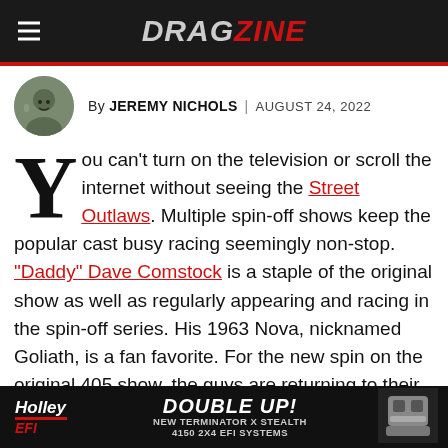DRAGZINE
By JEREMY NICHOLS | AUGUST 24, 2022
You can't turn on the television or scroll the internet without seeing the Street Outlaws. Multiple spin-off shows keep the popular cast busy racing seemingly non-stop. "Daddy" Dave Comstock is a staple of the original show as well as regularly appearing and racing in the spin-off series. His 1963 Nova, nicknamed Goliath, is a fan favorite. For the new spin on the original 405 show, the guys are returning to their roots and building real street cars that they can cruise with their families and drive to the race spot. Watch as Daddy Dave reveals the car he's
[Figure (photo): Author avatar photo of Jeremy Nichols - circular portrait]
[Figure (photo): Ad banner for Holley EFI Double Up - New Terminator X Stealth 4150 2x4 EFI Systems]